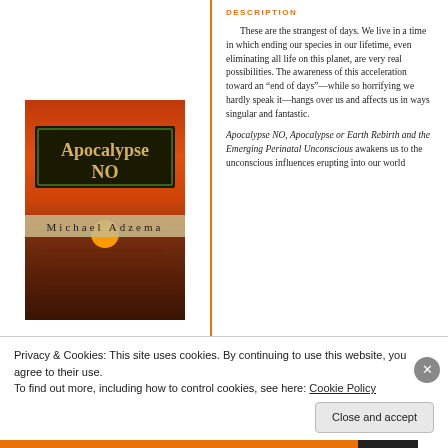[Figure (illustration): Book cover of 'Apocalypse NO' by Michael Adzema, showing a sunset over water with dark sky and orange/red tones. Title appears in a dark bordered box with gold text.]
DESCRIPTION
These are the strangest of days. We live in a time in which ending our species in our lifetime, even eliminating all life on this planet, are very real possibilities. The awareness of this acceleration toward an “end of days”—while so horrifying we hardly speak it—hangs over us and affects us in ways singular and fantastic.
Apocalypse NO, Apocalypse or Earth Rebirth and the Emerging Perinatal Unconscious awakens us to the unconscious influences erupting into our world
Privacy & Cookies: This site uses cookies. By continuing to use this website, you agree to their use.
To find out more, including how to control cookies, see here: Cookie Policy